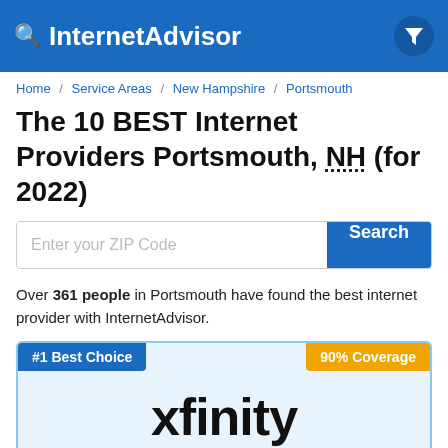InternetAdvisor
Home / Service Areas / New Hampshire / Portsmouth
The 10 BEST Internet Providers Portsmouth, NH (for 2022)
Over 361 people in Portsmouth have found the best internet provider with InternetAdvisor.
[Figure (screenshot): Xfinity provider card showing #1 Best Choice badge, 90% Coverage badge, xfinity logo, Customer Rating: 4/5, and star rating]